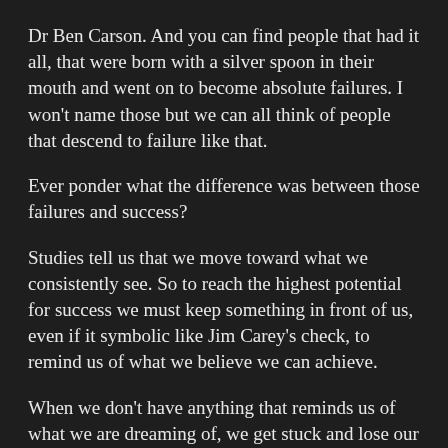Dr Ben Carson. And you can find people that had it all, that were born with a silver spoon in their mouth and went on to become absolute failures. I won't name those but we can all think of people that descend to failure like that.
Ever ponder what the difference was between those failures and success?
Studies tell us that we move toward what we consistently see. So to reach the highest potential for success we must keep something in front of us, even if it symbolic like Jim Carey's check, to remind us of what we believe we can achieve.
When we don't have anything that reminds us of what we are dreaming of, we get stuck and lose our passion. Proverbs says "Where there is no vision, the people perish." There are many ways to keep...